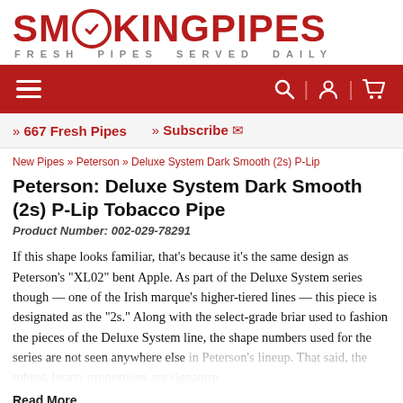SMOKINGPIPES — FRESH PIPES SERVED DAILY
[Figure (logo): SmokingPipes logo with red text and navigation bar showing hamburger menu, search, account, and cart icons]
» 667 Fresh Pipes   » Subscribe ✉
New Pipes » Peterson » Deluxe System Dark Smooth (2s) P-Lip
Peterson: Deluxe System Dark Smooth (2s) P-Lip Tobacco Pipe
Product Number: 002-029-78291
If this shape looks familiar, that's because it's the same design as Peterson's "XL02" bent Apple. As part of the Deluxe System series though — one of the Irish marque's higher-tiered lines — this piece is designated as the "2s." Along with the select-grade briar used to fashion the pieces of the Deluxe System line, the shape numbers used for the series are not seen anywhere else in Peterson's lineup. That said, the robust, hearty proportions are signature
Read More